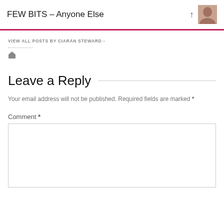FEW BITS – Anyone Else
VIEW ALL POSTS BY CIARÁN STEWARD→
Leave a Reply
Your email address will not be published. Required fields are marked *
Comment *